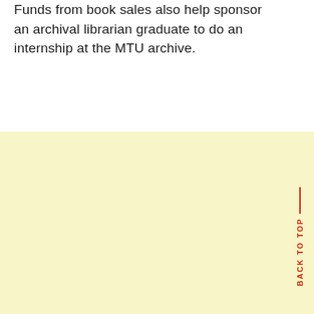Funds from book sales also help sponsor an archival librarian graduate to do an internship at the MTU archive.
BACK TO TOP